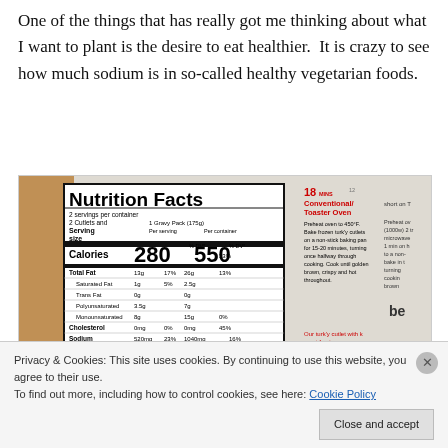One of the things that has really got me thinking about what I want to plant is the desire to eat healthier.  It is crazy to see how much sodium is in so-called healthy vegetarian foods.
[Figure (photo): A close-up photo of a nutrition facts label on a food package (vegetarian turk'y cutlets), showing calories 280 per serving and 550 per container, with various nutrient values. Partial cooking instructions visible on the right side of the package.]
Privacy & Cookies: This site uses cookies. By continuing to use this website, you agree to their use.
To find out more, including how to control cookies, see here: Cookie Policy
Close and accept